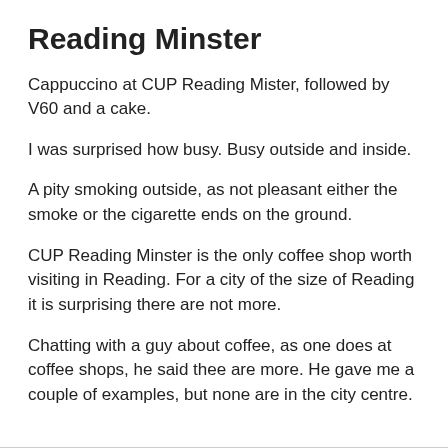Reading Minster
Cappuccino at CUP Reading Mister, followed by V60 and a cake.
I was surprised how busy. Busy outside and inside.
A pity smoking outside, as not pleasant either the smoke or the cigarette ends on the ground.
CUP Reading Minster is the only coffee shop worth visiting in Reading. For a city of the size of Reading it is surprising there are not more.
Chatting with a guy about coffee, as one does at coffee shops, he said thee are more. He gave me a couple of examples, but none are in the city centre.